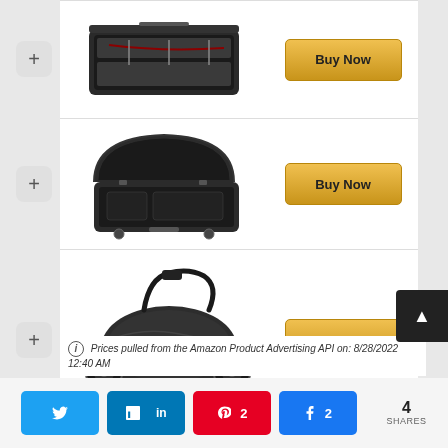[Figure (photo): Hard case for archery/crossbow equipment, open view with foam padding — product row 1]
[Figure (photo): Hard equipment case open, showing interior compartments — product row 2]
[Figure (photo): Soft gear bag with wheels and shoulder strap — product row 3]
Prices pulled from the Amazon Product Advertising API on: 8/28/2022 12:40 AM
4 SHARES — social share buttons: Twitter, LinkedIn, Pinterest (2), Facebook (2)